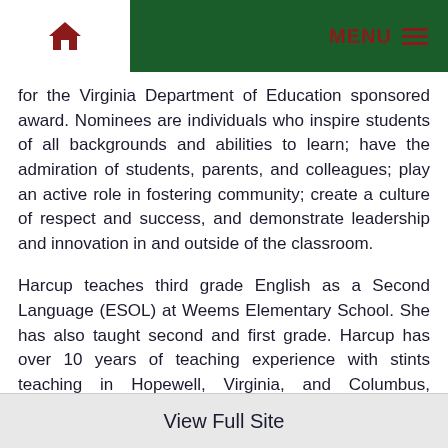Home | MENU
for the Virginia Department of Education sponsored award. Nominees are individuals who inspire students of all backgrounds and abilities to learn; have the admiration of students, parents, and colleagues; play an active role in fostering community; create a culture of respect and success, and demonstrate leadership and innovation in and outside of the classroom.
Harcup teaches third grade English as a Second Language (ESOL) at Weems Elementary School. She has also taught second and first grade. Harcup has over 10 years of teaching experience with stints teaching in Hopewell, Virginia, and Columbus, Georgia.
Administrators at Weems have described Harcup
View Full Site